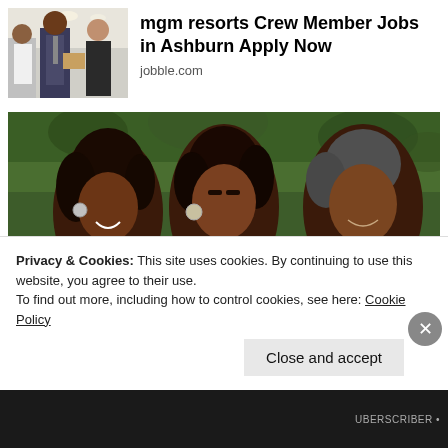[Figure (photo): Ad image showing restaurant staff/crew members smiling in uniform]
mgm resorts Crew Member Jobs in Ashburn Apply Now
jobble.com
[Figure (photo): Family photo of three people smiling outdoors with green foliage background]
Privacy & Cookies: This site uses cookies. By continuing to use this website, you agree to their use.
To find out more, including how to control cookies, see here: Cookie Policy
Close and accept